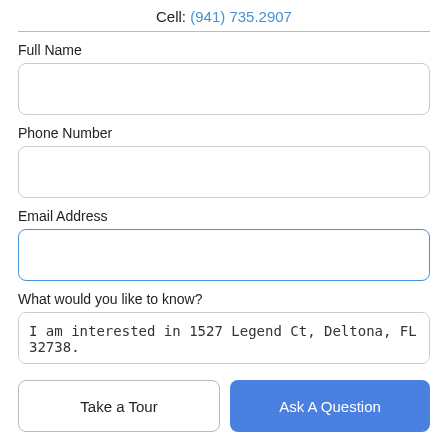Cell: (941) 735.2907
Full Name
Phone Number
Email Address
What would you like to know?
I am interested in 1527 Legend Ct, Deltona, FL 32738.
Take a Tour
Ask A Question